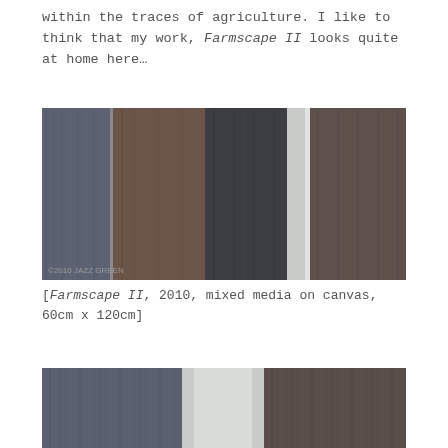within the traces of agriculture. I like to think that my work, Farmscape II looks quite at home here…
[Figure (photo): Photo of Farmscape II artwork - vertical panels of mixed media on canvas showing textures in dark blue-grey, brown, dark grey, light grey/white, and muted brown tones. Watermark '©2010 JAZZ GREEN' visible at bottom left.]
[Farmscape II, 2010, mixed media on canvas, 60cm x 120cm]
[Figure (photo): Close-up photo of Farmscape II artwork showing three vertical panels: dark blue-grey textured panel on left, pale grey/white smooth panel in centre, and dark brown textured panel on right.]